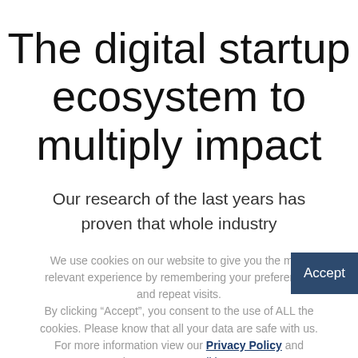The digital startup ecosystem to multiply impact
Our research of the last years has proven that whole industry
We use cookies on our website to give you the most relevant experience by remembering your preferences and repeat visits. By clicking “Accept”, you consent to the use of ALL the cookies. Please know that all your data are safe with us. For more information view our Privacy Policy and the Terms & Conditions.